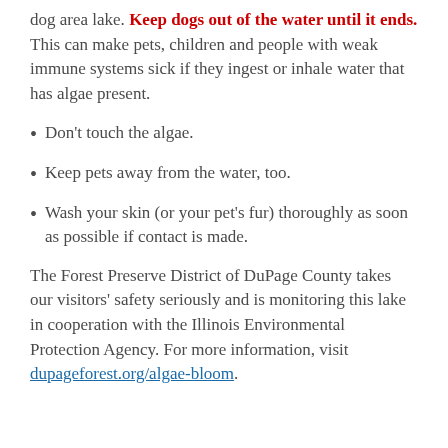dog area lake. Keep dogs out of the water until it ends. This can make pets, children and people with weak immune systems sick if they ingest or inhale water that has algae present.
Don't touch the algae.
Keep pets away from the water, too.
Wash your skin (or your pet's fur) thoroughly as soon as possible if contact is made.
The Forest Preserve District of DuPage County takes our visitors' safety seriously and is monitoring this lake in cooperation with the Illinois Environmental Protection Agency. For more information, visit dupageforest.org/algae-bloom.